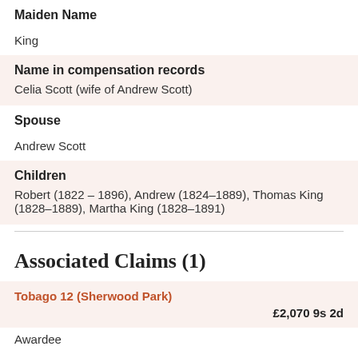Maiden Name
King
Name in compensation records
Celia Scott (wife of Andrew Scott)
Spouse
Andrew Scott
Children
Robert (1822 – 1896), Andrew (1824–1889), Thomas King (1828–1889), Martha King (1828–1891)
Associated Claims (1)
Tobago 12 (Sherwood Park)
£2,070 9s 2d
Awardee